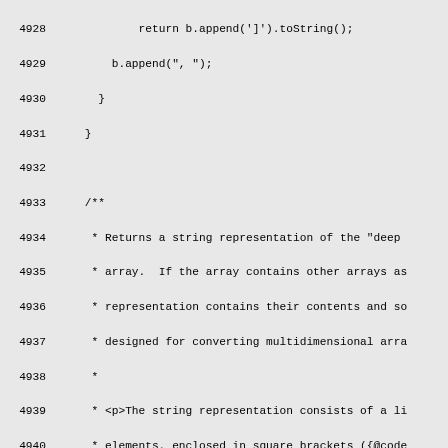Source code listing, lines 4928-4957, showing Java code with closing braces and a Javadoc comment block for a deepToString method.